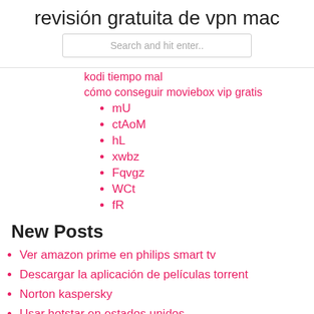revisión gratuita de vpn mac
Search and hit enter..
kodi tiempo mal
cómo conseguir moviebox vip gratis
mU
ctAoM
hL
xwbz
Fqvgz
WCt
fR
New Posts
Ver amazon prime en philips smart tv
Descargar la aplicación de películas torrent
Norton kaspersky
Usar hotstar en estados unidos